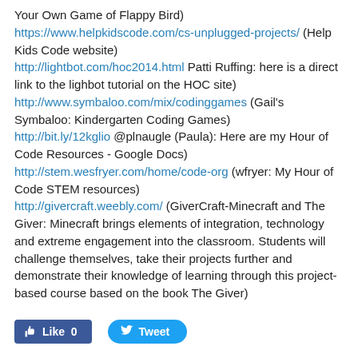Your Own Game of Flappy Bird)
https://www.helpkidscode.com/cs-unplugged-projects/ (Help Kids Code website)
http://lightbot.com/hoc2014.html Patti Ruffing: here is a direct link to the lighbot tutorial on the HOC site)
http://www.symbaloo.com/mix/codinggames (Gail's Symbaloo: Kindergarten Coding Games)
http://bit.ly/12kglio @plnaugle (Paula): Here are my Hour of Code Resources - Google Docs)
http://stem.wesfryer.com/home/code-org (wfryer: My Hour of Code STEM resources)
http://givercraft.weebly.com/ (GiverCraft-Minecraft and The Giver: Minecraft brings elements of integration, technology and extreme engagement into the classroom. Students will challenge themselves, take their projects further and demonstrate their knowledge of learning through this project-based course based on the book The Giver)